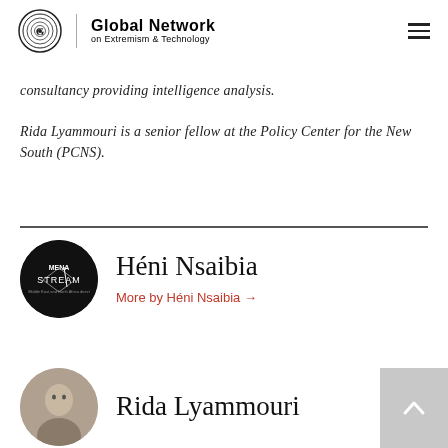Global Network on Extremism & Technology
consultancy providing intelligence analysis.
Rida Lyammouri is a senior fellow at the Policy Center for the New South (PCNS).
[Figure (illustration): MENASTREAM circular logo (black circle with white text)]
Héni Nsaibia
More by Héni Nsaibia →
[Figure (photo): Photo of Rida Lyammouri]
Rida Lyammouri